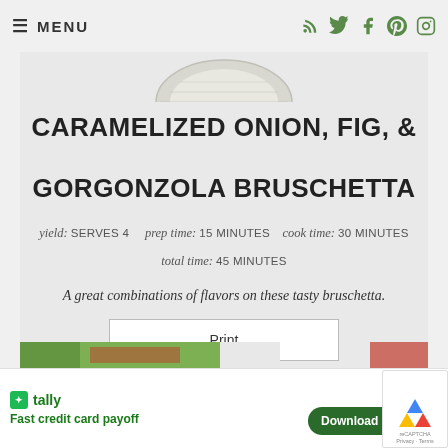≡ MENU
[Figure (photo): Partial view of a plate/bowl with food, cropped at top of main card]
CARAMELIZED ONION, FIG, & GORGONZOLA BRUSCHETTA
yield: SERVES 4    prep time: 15 MINUTES    cook time: 30 MINUTES    total time: 45 MINUTES
A great combinations of flavors on these tasty bruschetta.
Print
[Figure (photo): Bottom strip showing partial food images]
tally  Fast credit card payoff  Download Now →